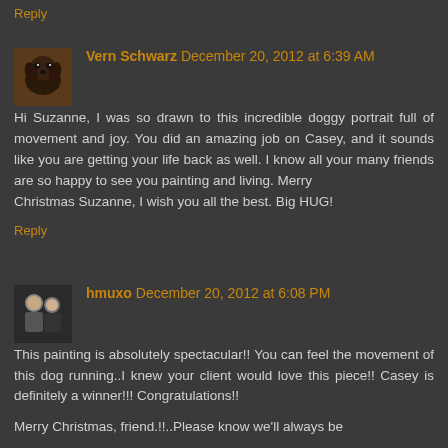Reply
Vern Schwarz December 20, 2012 at 6:39 AM
Hi Suzanne, I was so drawn to this incredible doggy portrait full of movement and joy. You did an amazing job on Casey, and it sounds like you are getting your life back as well. I know all your many friends are so happy to see you painting and living. Merry Christmas Suzanne, I wish you all the best. Big HUG!
Reply
hmuxo December 20, 2012 at 6:08 PM
This painting is absolutely spectacular!! You can feel the movement of this dog running..I knew your client would love this piece!! Casey is definitely a winner!!! Congratulations!!
Merry Christmas, friend.!!..Please know we'll always be